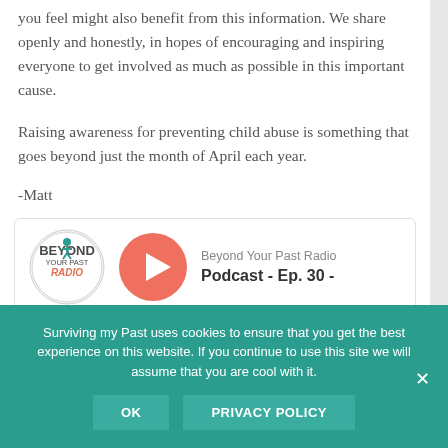you feel might also benefit from this information. We share openly and honestly, in hopes of encouraging and inspiring everyone to get involved as much as possible in this important cause.
Raising awareness for preventing child abuse is something that goes beyond just the month of April each year.
-Matt
[Figure (other): Beyond Your Past Radio podcast player widget showing logo, orange play button, and text 'Beyond Your Past Radio Podcast - Ep. 30 -']
Surviving my Past uses cookies to ensure that you get the best experience on this website. If you continue to use this site we will assume that you are cool with it.
OK   PRIVACY POLICY